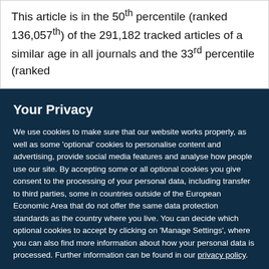This article is in the 50th percentile (ranked 136,057th) of the 291,182 tracked articles of a similar age in all journals and the 33rd percentile (ranked
Your Privacy
We use cookies to make sure that our website works properly, as well as some 'optional' cookies to personalise content and advertising, provide social media features and analyse how people use our site. By accepting some or all optional cookies you give consent to the processing of your personal data, including transfer to third parties, some in countries outside of the European Economic Area that do not offer the same data protection standards as the country where you live. You can decide which optional cookies to accept by clicking on 'Manage Settings', where you can also find more information about how your personal data is processed. Further information can be found in our privacy policy.
Accept all cookies
Manage preferences